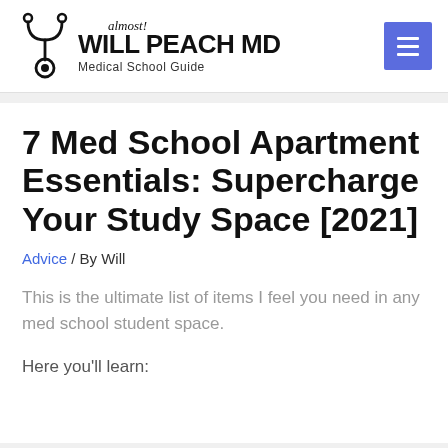[Figure (logo): Will Peach MD Medical School Guide logo with stethoscope icon, 'almost!' in cursive above the title, and a blue hamburger menu button on the right]
7 Med School Apartment Essentials: Supercharge Your Study Space [2021]
Advice / By Will
This is the ultimate list of items I feel you need in any med school student space.
Here you'll learn: